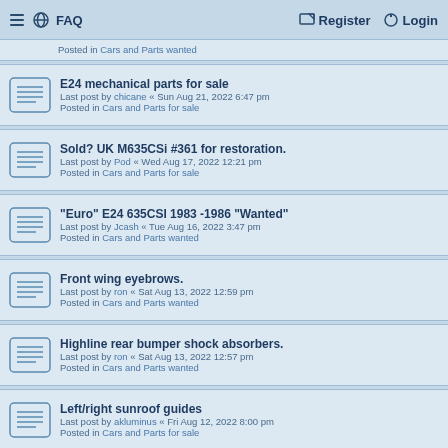≡ 🌐 FAQ    Register  Login
Posted in Cars and Parts wanted
E24 mechanical parts for sale
Last post by chicane « Sun Aug 21, 2022 6:47 pm
Posted in Cars and Parts for sale
Sold? UK M635CSi #361 for restoration.
Last post by Pod « Wed Aug 17, 2022 12:21 pm
Posted in Cars and Parts for sale
"Euro" E24 635CSI 1983 -1986 "Wanted"
Last post by Jcash « Tue Aug 16, 2022 3:47 pm
Posted in Cars and Parts wanted
Front wing eyebrows.
Last post by ron « Sat Aug 13, 2022 12:59 pm
Posted in Cars and Parts wanted
Highline rear bumper shock absorbers.
Last post by ron « Sat Aug 13, 2022 12:57 pm
Posted in Cars and Parts wanted
Left/right sunroof guides
Last post by akluminus « Fri Aug 12, 2022 8:00 pm
Posted in Cars and Parts for sale
FS: 1985 BMW 635csi Euro 5-speed
Last post by tylerrose « Fri Aug 12, 2022 6:51 pm
Posted in Cars and Parts for sale
Engine oil cooler hose needed
Last post by Alpinab7 « Fri Aug 12, 2022 2:26 pm